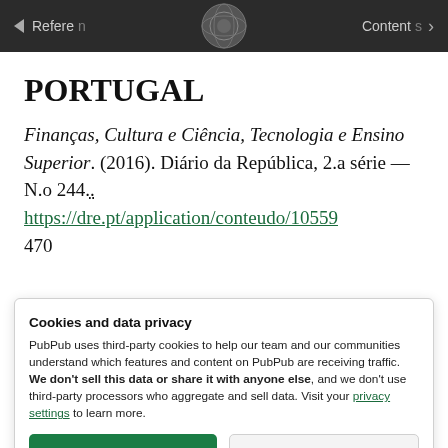References  Contents
PORTUGAL
Finanças, Cultura e Ciência, Tecnologia e Ensino Superior. (2016). Diário da República, 2.a série — N.o 244. https://dre.pt/application/conteudo/10559
470
Cookies and data privacy
PubPub uses third-party cookies to help our team and our communities understand which features and content on PubPub are receiving traffic. We don't sell this data or share it with anyone else, and we don't use third-party processors who aggregate and sell data. Visit your privacy settings to learn more.
[Accept] [Disable]
GT-PNCA